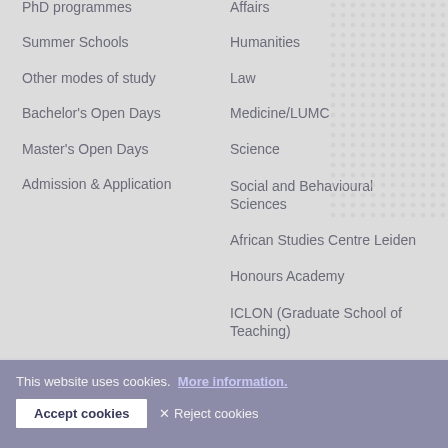PhD programmes
Summer Schools
Other modes of study
Bachelor's Open Days
Master's Open Days
Admission & Application
Affairs
Humanities
Law
Medicine/LUMC
Science
Social and Behavioural Sciences
African Studies Centre Leiden
Honours Academy
ICLON (Graduate School of Teaching)
About us
Working at Leiden University
Connect with us
Sign up to receive our
This website uses cookies.  More information.
Accept cookies
✕ Reject cookies